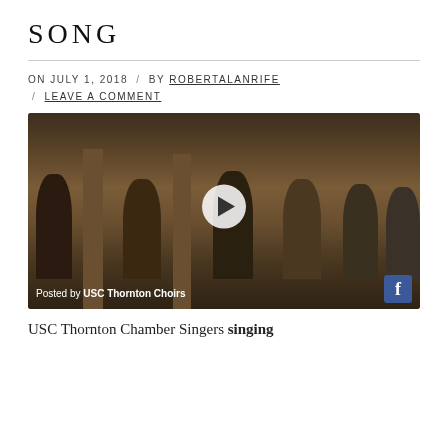SONG
ON JULY 1, 2018 / BY ROBERTALANRIFE / LEAVE A COMMENT
[Figure (photo): Video still showing USC Thornton Chamber Singers singing in an ancient temple setting with stone columns and carved walls. A play button overlay is centered on the image. Bottom left shows 'Posted by USC Thornton Choirs' and a Facebook icon is in the bottom right.]
USC Thornton Chamber Singers singing